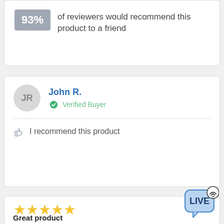93% of reviewers would recommend this product to a friend
John R.
Verified Buyer
I recommend this product
[Figure (other): Five gold stars rating]
Great product
[Figure (logo): LIVE chat/streaming badge with wifi icon in a speech bubble]